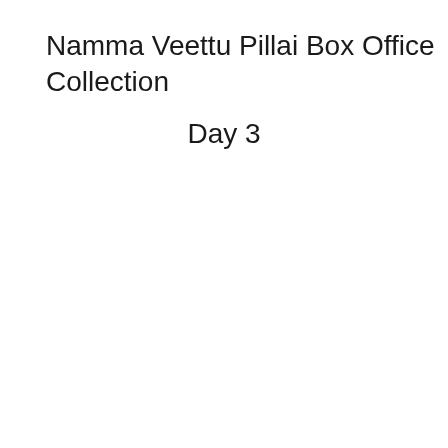Namma Veettu Pillai Box Office Collection
Day 3